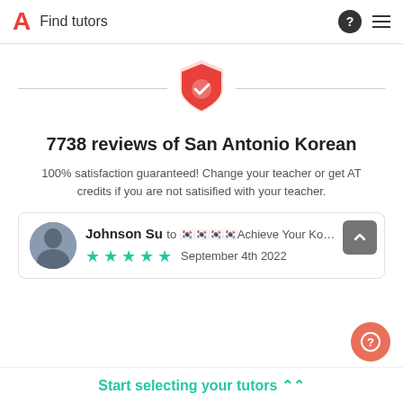Find tutors
[Figure (illustration): Shield icon with checkmark, red/pink gradient, flanked by horizontal lines]
7738 reviews of San Antonio Korean
100% satisfaction guaranteed! Change your teacher or get AT credits if you are not satisified with your teacher.
Johnson Su to 🇰🇷🇰🇷🇰🇷🇰🇷Achieve Your Ko... ★★★★★ September 4th 2022
Start selecting your tutors ᐱᐱ